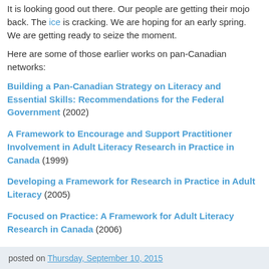It is looking good out there. Our people are getting their mojo back. The ice is cracking. We are hoping for an early spring. We are getting ready to seize the moment.
Here are some of those earlier works on pan-Canadian networks:
Building a Pan-Canadian Strategy on Literacy and Essential Skills: Recommendations for the Federal Government (2002)
A Framework to Encourage and Support Practitioner Involvement in Adult Literacy Research in Practice in Canada (1999)
Developing a Framework for Research in Practice in Adult Literacy (2005)
Focused on Practice: A Framework for Adult Literacy Research in Canada (2006)
posted on Thursday, September 10, 2015